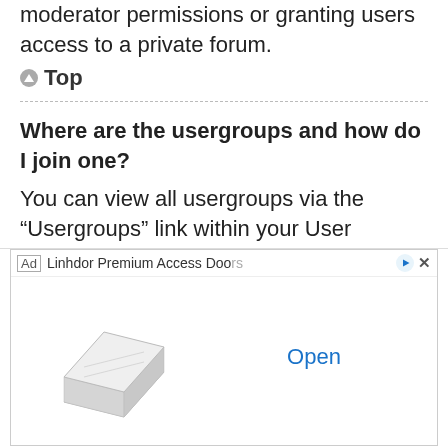moderator permissions or granting users access to a private forum.
Top
Where are the usergroups and how do I join one?
You can view all usergroups via the “Usergroups” link within your User Control Panel. If you would like to join one, proceed by clicking the appropriate button. Not all groups have
[Figure (other): Advertisement banner for Linhdor Premium Access Doors showing a white access door product image with an Open button in blue text.]